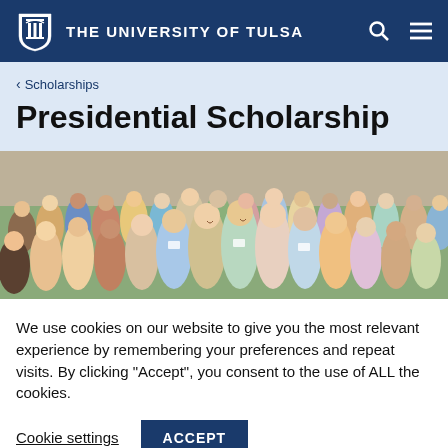THE UNIVERSITY OF TULSA
< Scholarships
Presidential Scholarship
[Figure (photo): Large group photo of smiling university students standing together outdoors in front of a stone wall]
We use cookies on our website to give you the most relevant experience by remembering your preferences and repeat visits. By clicking "Accept", you consent to the use of ALL the cookies.
Cookie settings  ACCEPT